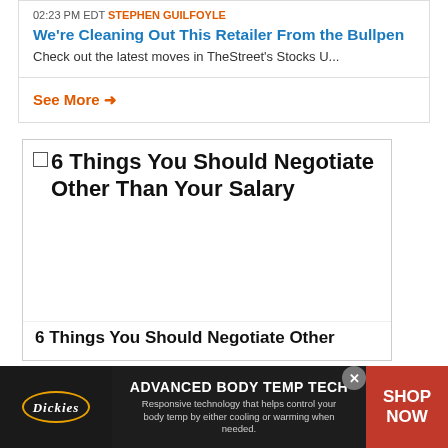02:23 PM EDT STEPHEN GUILFOYLE
We're Cleaning Out This Retailer From the Bullpen
Check out the latest moves in TheStreet's Stocks U...
See More →
6 Things You Should Negotiate Other Than Your Salary
[Figure (screenshot): Empty white content area of an article preview box]
6 Things You Should Negotiate Other
[Figure (photo): Dickies advertisement banner — ADVANCED BODY TEMP TECH. Responsive technology that helps control your body temp by either cooling or warming when needed. SHOP NOW.]